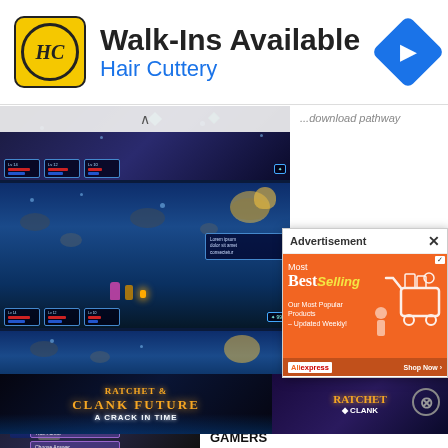[Figure (screenshot): Hair Cuttery advertisement banner with logo, 'Walk-Ins Available' text, and navigation icon]
[Figure (screenshot): Three stacked game screenshots from what appears to be a 2D RPG/action game with blue underwater cave environment and character sprites]
...download pathway
[Figure (screenshot): Advertisement popup overlay with black header 'Advertisement' and orange AliExpress 'Most BestSelling' ad]
[Figure (screenshot): Ratchet & Clank: A Crack in Time and Ratchet & Clank game title banners side by side]
[Figure (screenshot): Fire Emblem: Three Houses game screenshot showing characters and dialogue/menu interface]
Fire Emblem: Three Houses - How to Recruit Characters from Other Houses - SAMURAI GAMERS